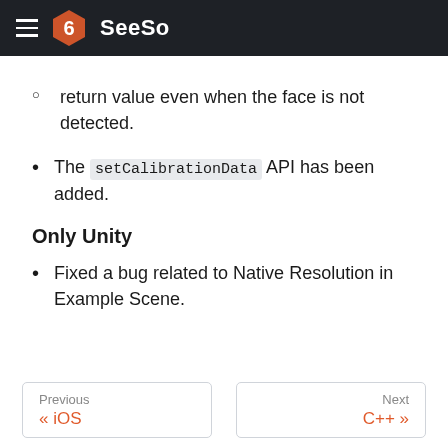SeeSo
return value even when the face is not detected.
The setCalibrationData API has been added.
Only Unity
Fixed a bug related to Native Resolution in Example Scene.
Previous « iOS   Next C++ »